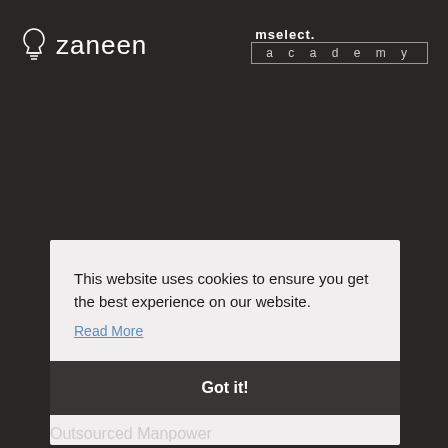[Figure (logo): Zaneen logo with lightbulb icon and text 'zaneen' in white on dark background]
[Figure (logo): mselect. academy logo in white on dark background, with 'academy' in a bordered box]
This website uses cookies to ensure you get the best experience on our website.
Read More
Got it!
Outsourced Manpower